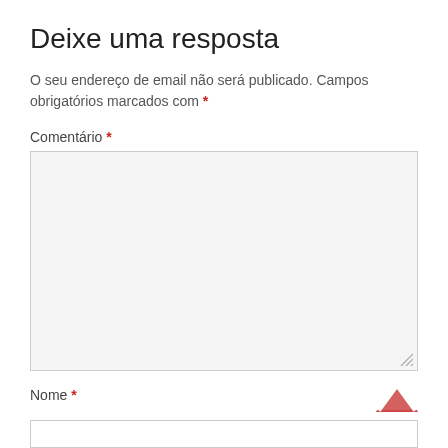Deixe uma resposta
O seu endereço de email não será publicado. Campos obrigatórios marcados com *
Comentário *
Nome *